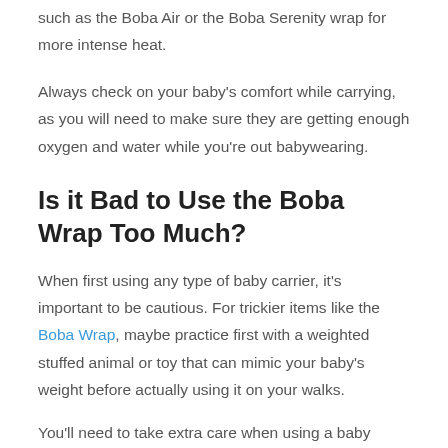such as the Boba Air or the Boba Serenity wrap for more intense heat.
Always check on your baby's comfort while carrying, as you will need to make sure they are getting enough oxygen and water while you're out babywearing.
Is it Bad to Use the Boba Wrap Too Much?
When first using any type of baby carrier, it's important to be cautious. For trickier items like the Boba Wrap, maybe practice first with a weighted stuffed animal or toy that can mimic your baby's weight before actually using it on your walks.
You'll need to take extra care when using a baby carrier such as this. This includes climbing stairs, crossing doors, and turning corners. It goes to show that you should be following basic safety tips as well, such as avoiding any cooking or drinking hot food, traveling on a vehicle, or even any activity that can cause a minor